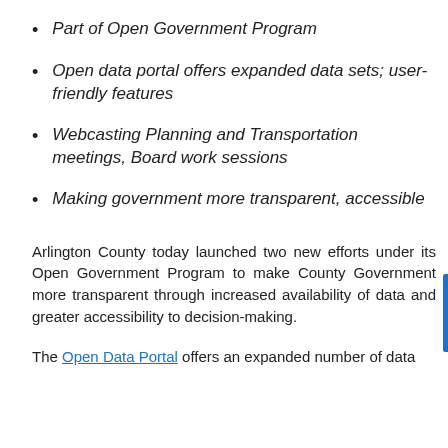Part of Open Government Program
Open data portal offers expanded data sets; user-friendly features
Webcasting Planning and Transportation meetings, Board work sessions
Making government more transparent, accessible
Arlington County today launched two new efforts under its Open Government Program to make County Government more transparent through increased availability of data and greater accessibility to decision-making.
The Open Data Portal offers an expanded number of data